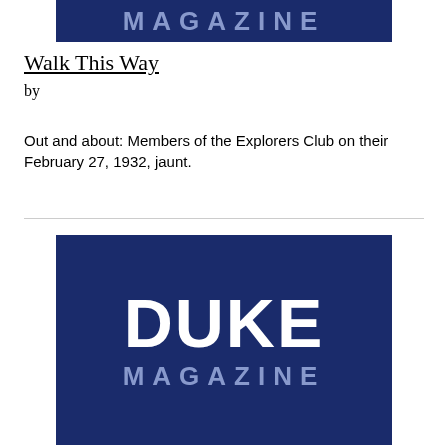[Figure (logo): Duke Magazine logo — dark navy blue rectangle with 'DUKE' in large white bold text and 'MAGAZINE' in smaller gray/blue bold text below, partially visible at top of page]
Walk This Way
by
Out and about: Members of the Explorers Club on their February 27, 1932, jaunt.
[Figure (logo): Duke Magazine logo — dark navy blue rectangle with 'DUKE' in large white bold text and 'MAGAZINE' in smaller gray/blue bold text below]